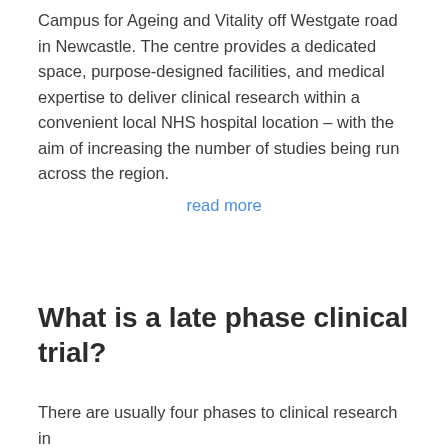Campus for Ageing and Vitality off Westgate road in Newcastle. The centre provides a dedicated space, purpose-designed facilities, and medical expertise to deliver clinical research within a convenient local NHS hospital location – with the aim of increasing the number of studies being run across the region.
read more
What is a late phase clinical trial?
There are usually four phases to clinical research in